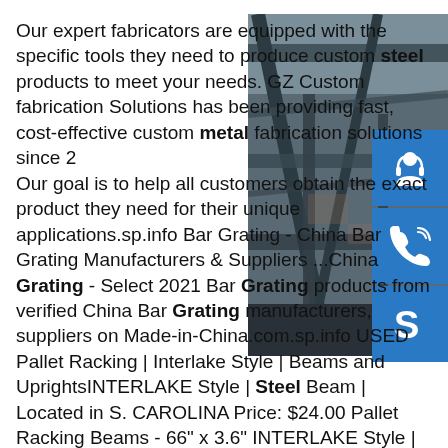[Figure (photo): Photo of steel structural beams and framework in an industrial/construction setting, showing steel girders and supports from below.]
[Figure (infographic): Three blue icon buttons stacked vertically on the right side: a customer service/headset icon, a phone/call icon, and a Skype icon.]
Our expert fabricators are equipped with the specific tools they need to produce custom steel products to meet your needs. GZ Custom fabrication Solutions has been providing fast, cost-effective custom metal fabrication solutions since 2... Our goal is to help all customers obtain the exact product they need for their unique applications.sp.info Bar Grating - China Bar Grating Manufacturers & Suppliers ...China Bar Grating - Select 2021 Bar Grating products from verified China Bar Grating manufacturers, suppliers on Made-in-China.com.sp.info USED Pallet Racking | Interlake Style | Beams and UprightsINTERLAKE Style | Steel Beam | Located in S. CAROLINA Price: $24.00 Pallet Racking Beams - 66" x 3.6" INTERLAKE Style | Steel Beam | Located in S. CAROLINA Price: $12.75 Pallet Racking Beams - 88" x 3.75"INTERLAKE Style | Steel Beam |...